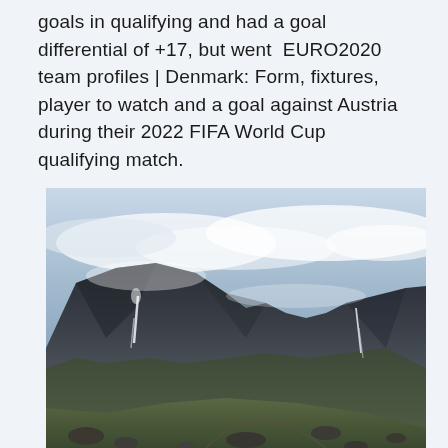goals in qualifying and had a goal differential of +17, but went  EURO2020 team profiles | Denmark: Form, fixtures, player to watch and a goal against Austria during their 2022 FIFA World Cup qualifying match.
[Figure (photo): A dramatic mountain landscape photograph showing dark rocky peaks partially obscured by low-hanging clouds or mist. In the foreground, green grassy hillside with rocky terrain and boulders. Two thin waterfalls are visible cascading down the rocky cliffs. The sky is moody with white clouds contrasting against the dark mountain ridgeline.]